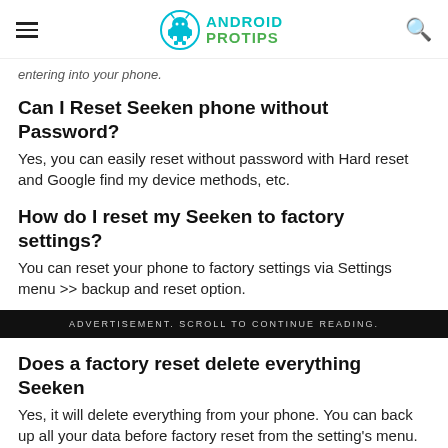ANDROID PROTIPS
entering into your phone.
Can I Reset Seeken phone without Password?
Yes, you can easily reset without password with Hard reset and Google find my device methods, etc.
How do I reset my Seeken to factory settings?
You can reset your phone to factory settings via Settings menu >> backup and reset option.
ADVERTISEMENT. SCROLL TO CONTINUE READING.
Does a factory reset delete everything Seeken
Yes, it will delete everything from your phone. You can back up all your data before factory reset from the setting's menu.